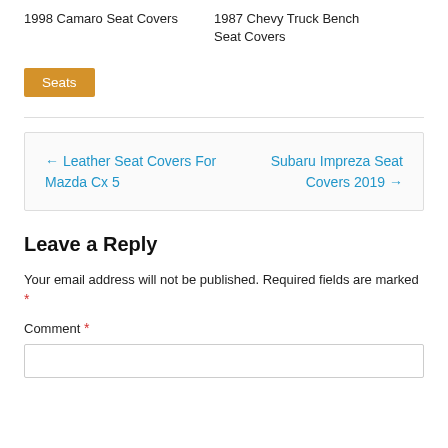1998 Camaro Seat Covers
1987 Chevy Truck Bench Seat Covers
Seats
← Leather Seat Covers For Mazda Cx 5
Subaru Impreza Seat Covers 2019 →
Leave a Reply
Your email address will not be published. Required fields are marked *
Comment *